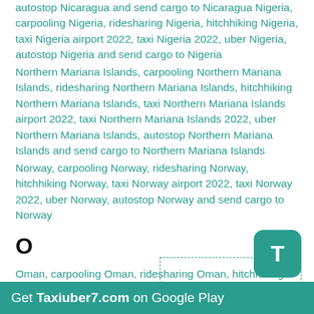autostop Nicaragua and send cargo to Nicaragua Nigeria, carpooling Nigeria, ridesharing Nigeria, hitchhiking Nigeria, taxi Nigeria airport 2022, taxi Nigeria 2022, uber Nigeria, autostop Nigeria and send cargo to Nigeria
Northern Mariana Islands, carpooling Northern Mariana Islands, ridesharing Northern Mariana Islands, hitchhiking Northern Mariana Islands, taxi Northern Mariana Islands airport 2022, taxi Northern Mariana Islands 2022, uber Northern Mariana Islands, autostop Northern Mariana Islands and send cargo to Northern Mariana Islands
Norway, carpooling Norway, ridesharing Norway, hitchhiking Norway, taxi Norway airport 2022, taxi Norway 2022, uber Norway, autostop Norway and send cargo to Norway
O
Oman, carpooling Oman, ridesharing Oman, hitchhiking Oman, taxi Oman airport 2022, taxi Oman 2022, uber Oman, autostop Oman and send cargo to Oman
Get Taxiuber7.com on Google Play
Find Contacts